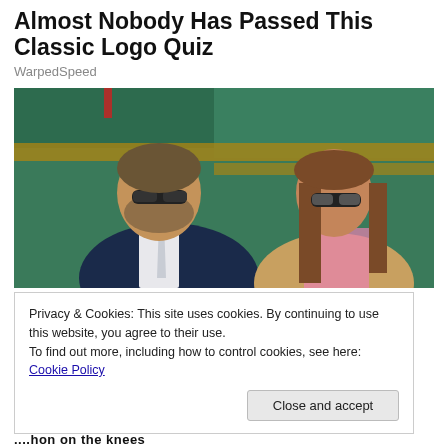Almost Nobody Has Passed This Classic Logo Quiz
WarpedSpeed
[Figure (photo): Two people sitting in a stadium/sports venue. A man in a dark suit with a white tie wearing dark sunglasses on left, a woman with long brown hair wearing sunglasses and a floral/patterned jacket on right. Green stadium seats visible in background.]
Privacy & Cookies: This site uses cookies. By continuing to use this website, you agree to their use.
To find out more, including how to control cookies, see here: Cookie Policy
Close and accept
...hon on the knees